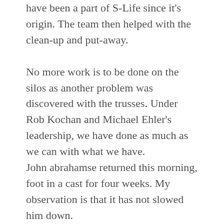have been a part of S-Life since it's origin. The team then helped with the clean-up and put-away.
No more work is to be done on the silos as another problem was discovered with the trusses. Under Rob Kochan and Michael Ehler's leadership, we have done as much as we can with what we have.
John abrahamse returned this morning, foot in a cast for four weeks. My observation is that it has not slowed him down.
This will be the last update. By the time you read this, we will be on a plan journeying back to Iowa. While I am sure we will be tired the first few days after we arrive home, we are anxious to share with you what God has done through our service in South Africa. We came to be a blessing and we have accomplished that. We also have been blessed ourselves far beyond what